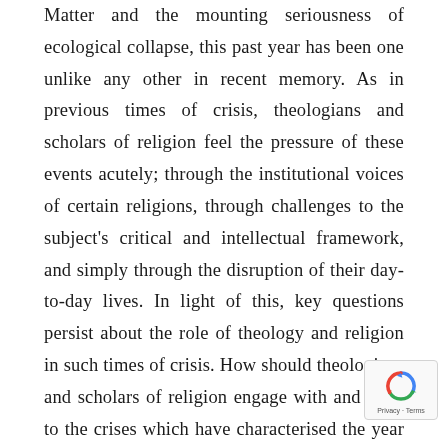Matter and the mounting seriousness of ecological collapse, this past year has been one unlike any other in recent memory. As in previous times of crisis, theologians and scholars of religion feel the pressure of these events acutely; through the institutional voices of certain religions, through challenges to the subject's critical and intellectual framework, and simply through the disruption of their day-to-day lives. In light of this, key questions persist about the role of theology and religion in such times of crisis. How should theologians and scholars of religion engage with and react to the crises which have characterised the year 2020? What insight can the subject offer in response to these events, both practically and conceptually? In what ways might religions and religious institutions themselves be in crisis? For this edition of The Journal of the Graduate Theological Society, the Editorial Board invites
[Figure (other): reCAPTCHA privacy badge overlay in bottom right corner showing recycling arrow logo and 'Privacy - Terms' text]